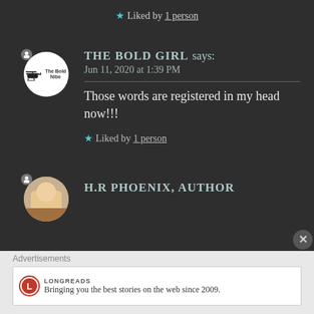★ Liked by 1 person
THE BOLD GIRL says: Jun 11, 2020 at 1:39 PM
Those words are registered in my head now!!!
★ Liked by 1 person
H.R PHOENIX, AUTHOR says:
Advertisements
LONGREADS Bringing you the best stories on the web since 2009.